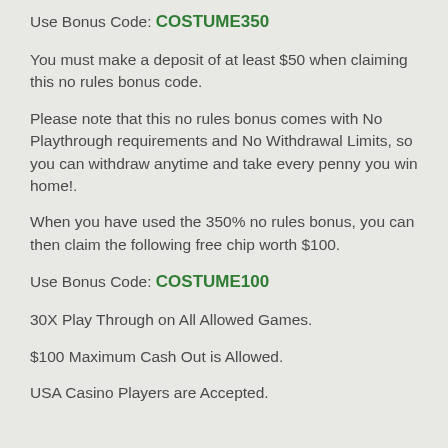Use Bonus Code: COSTUME350
You must make a deposit of at least $50 when claiming this no rules bonus code.
Please note that this no rules bonus comes with No Playthrough requirements and No Withdrawal Limits, so you can withdraw anytime and take every penny you win home!.
When you have used the 350% no rules bonus, you can then claim the following free chip worth $100.
Use Bonus Code: COSTUME100
30X Play Through on All Allowed Games.
$100 Maximum Cash Out is Allowed.
USA Casino Players are Accepted.